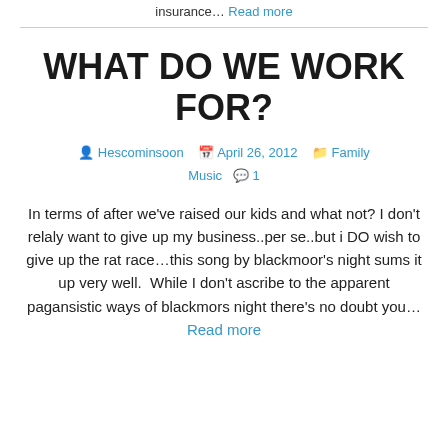insurance… Read more
WHAT DO WE WORK FOR?
Hescominsoon   April 26, 2012   Family Music   1
In terms of after we've raised our kids and what not? I don't relaly want to give up my business..per se..but i DO wish to give up the rat race…this song by blackmoor's night sums it up very well.  While I don't ascribe to the apparent pagansistic ways of blackmors night there's no doubt you… Read more